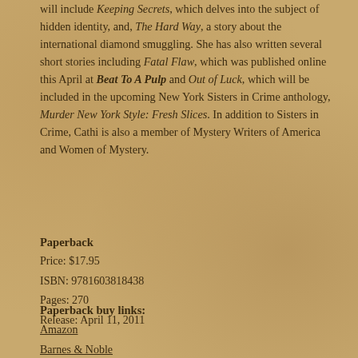will include Keeping Secrets, which delves into the subject of hidden identity, and, The Hard Way, a story about the international diamond smuggling. She has also written several short stories including Fatal Flaw, which was published online this April at Beat To A Pulp and Out of Luck, which will be included in the upcoming New York Sisters in Crime anthology, Murder New York Style: Fresh Slices. In addition to Sisters in Crime, Cathi is also a member of Mystery Writers of America and Women of Mystery.
Paperback
Price: $17.95
ISBN: 9781603818438
Pages: 270
Release: April 11, 2011
Paperback buy links:
Amazon
Barnes & Noble